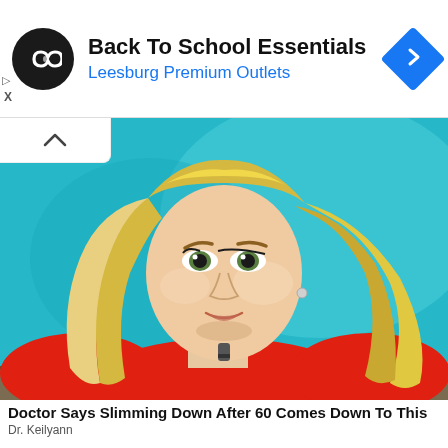[Figure (screenshot): Facebook-style advertisement banner: black circular logo with infinity/link icon, bold title 'Back To School Essentials', blue subtitle 'Leesburg Premium Outlets', blue diamond navigation icon on right, small play and X icons on left side]
[Figure (photo): Blonde woman in a red top seated in front of a teal/cyan background, appearing to be on a TV talk show set, with long wavy blonde hair and wearing a small earring]
Doctor Says Slimming Down After 60 Comes Down To This
Dr. Keilyann